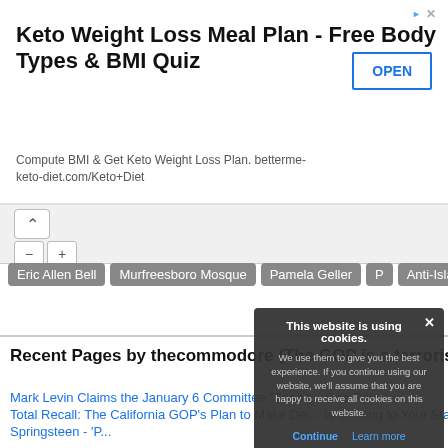[Figure (screenshot): Advertisement banner for Keto Weight Loss Meal Plan with OPEN button]
Keto Weight Loss Meal Plan - Free Body Types & BMI Quiz
Compute BMI & Get Keto Weight Loss Plan. betterme-keto-diet.com/Keto+Diet
[Figure (screenshot): Map controls showing up arrow and zoom plus/minus buttons]
Eric Allen Bell
Murfreesboro Mosque
Pamela Geller
Anti-Islam
Bad Craziness
Recent Pages by thecommodore (The GOP is a terrorist organization):
Mark Levin Claims the January 6 Committee "Tried t... One Point"
Total Recall: The California GOP's Plan to Make Der... Is Coming to Your State
Springsteen - 'P...
Categories
Daily
Monthly
Twitter
Fun
Search
About
This website is using cookies. We use them to give you the best experience. If you continue using our website, we'll assume that you are happy to receive all cookies on this website.